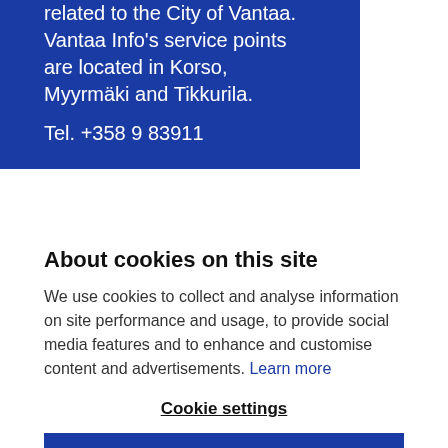related to the City of Vantaa. Vantaa Info's service points are located in Korso, Myyrmäki and Tikkurila.
Tel. +358 9 83911
About cookies on this site
We use cookies to collect and analyse information on site performance and usage, to provide social media features and to enhance and customise content and advertisements. Learn more
Cookie settings
ALLOW ONLY NECESSARY COOKIES
ALLOW ALL COOKIES